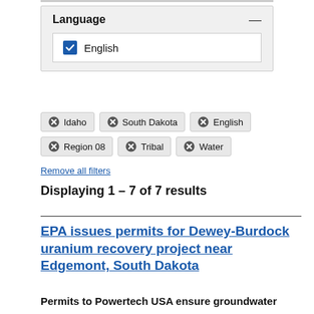Language
English
Idaho
South Dakota
English
Region 08
Tribal
Water
Remove all filters
Displaying 1 - 7 of 7 results
EPA issues permits for Dewey-Burdock uranium recovery project near Edgemont, South Dakota
Permits to Powertech USA ensure groundwater